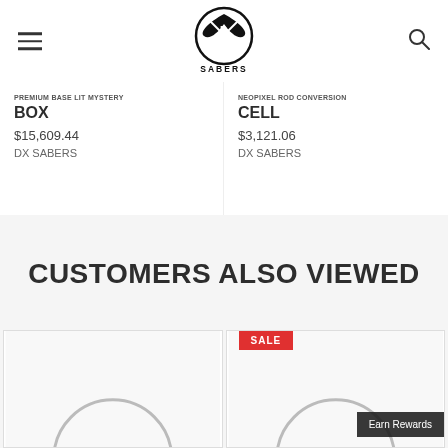DX SABERS logo with hamburger menu and search icon
PREMIUM BASE LIT MYSTERY BOX
$15,609.44
DX SABERS
NEOPIXEL ROD CONVERSION CELL
$3,121.06
DX SABERS
CUSTOMERS ALSO VIEWED
[Figure (screenshot): Product card thumbnail (left), no badge]
[Figure (screenshot): Product card thumbnail (right) with SALE badge and Earn Rewards overlay]